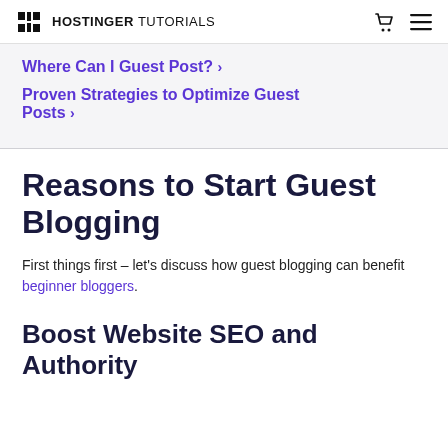HOSTINGER TUTORIALS
Where Can I Guest Post? ›
Proven Strategies to Optimize Guest Posts ›
Reasons to Start Guest Blogging
First things first – let's discuss how guest blogging can benefit beginner bloggers.
Boost Website SEO and Authority